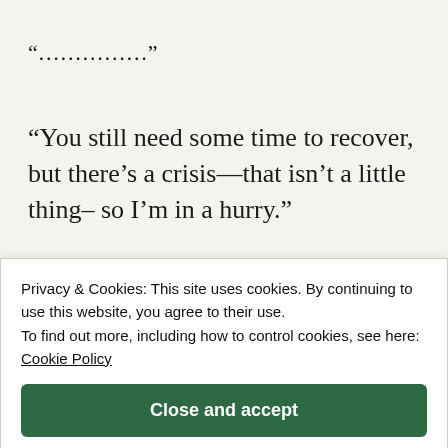“……………”
“You still need some time to recover, but there’s a crisis—that isn’t a little thing– so I’m in a hurry.”
“………”
“Please, Igelto.”
I implored, almost begging
Privacy & Cookies: This site uses cookies. By continuing to use this website, you agree to their use.
To find out more, including how to control cookies, see here: Cookie Policy
Close and accept